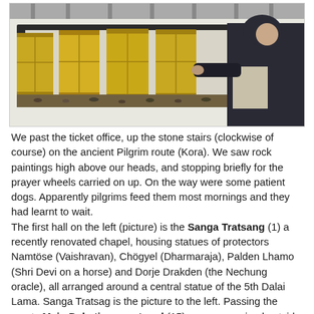[Figure (photo): A person spinning large golden Buddhist prayer wheels along a whitewashed stone wall on a pilgrim route (Kora). The prayer wheels are cylindrical, gold-colored, and mounted in a row. Coins and offerings are visible at the base. The person wears a dark hooded jacket.]
We past the ticket office, up the stone stairs (clockwise of course) on the ancient Pilgrim route (Kora). We saw rock paintings high above our heads, and stopping briefly for the prayer wheels carried on up. On the way were some patient dogs. Apparently pilgrims feed them most mornings and they had learnt to wait.
The first hall on the left (picture) is the Sanga Tratsang (1) a recently renovated chapel, housing statues of protectors Namtöse (Vaishravan), Chögyel (Dharmaraja), Palden Lhamo (Shri Devi on a horse) and Dorje Drakden (the Nechung oracle), all arranged around a central statue of the 5th Dalai Lama. Sanga Tratsag is the picture to the left. Passing the empty Main Debating courtyard (15), we soon arrived outside Ganden Palace (2) aka Ganden Phodrang.
In 1530 the 2nd Dalai Lama established the Ganden palace, which